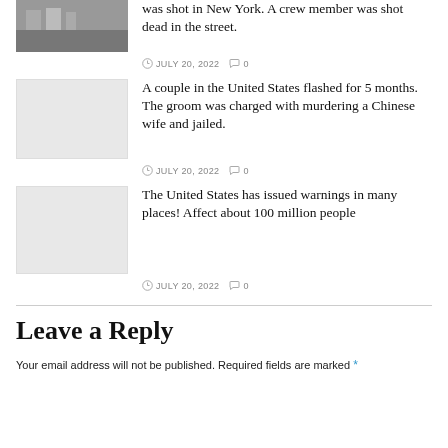[Figure (photo): Small thumbnail image of a street scene at top left, partially visible]
was shot in New York. A crew member was shot dead in the street.
JULY 20, 2022  0
[Figure (photo): Light grey placeholder thumbnail image]
A couple in the United States flashed for 5 months. The groom was charged with murdering a Chinese wife and jailed.
JULY 20, 2022  0
[Figure (photo): Light grey placeholder thumbnail image]
The United States has issued warnings in many places! Affect about 100 million people
JULY 20, 2022  0
Leave a Reply
Your email address will not be published. Required fields are marked *